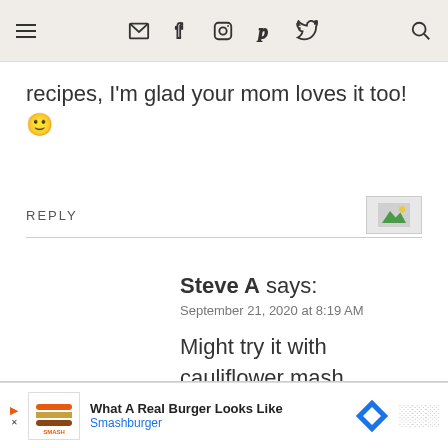Navigation bar with menu, email, facebook, instagram, pinterest, twitter, search icons
recipes, I'm glad your mom loves it too! 🙂
REPLY
Steve A says:
September 21, 2020 at 8:19 AM
Might try it with cauliflower mash substituted...
[Figure (other): Advertisement banner: Smashburger - What A Real Burger Looks Like]
What A Real Burger Looks Like Smashburger